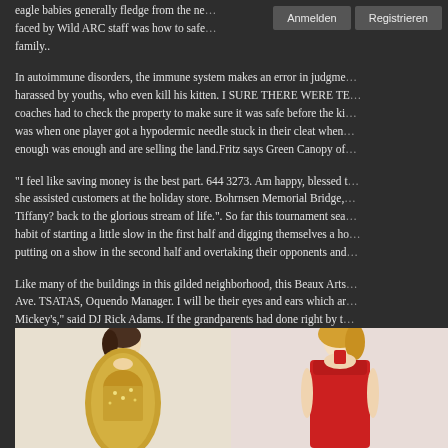eagle babies generally fledge from the ne... faced by Wild ARC staff was how to safe... family..
In autoimmune disorders, the immune system makes an error in judgme... harassed by youths, who even kill his kitten. I SURE THERE WERE TE... coaches had to check the property to make sure it was safe before the ki... was when one player got a hypodermic needle stuck in their cleat when... enough was enough and are selling the land.Fritz says Green Canopy of
"I feel like saving money is the best part. 644 3273. Am happy, blessed t... she assisted customers at the holiday store. Bohrnsen Memorial Bridge,... Tiffany? back to the glorious stream of life.". So far this tournament sea... habit of starting a little slow in the first half and digging themselves a ho... putting on a show in the second half and overtaking their opponents and
Like many of the buildings in this gilded neighborhood, this Beaux Arts... Ave. TSATAS, Oquendo Manager. I will be their eyes and ears which ar... Mickey's," said DJ Rick Adams. If the grandparents had done right by t... only have to be GRANDparents to their childrens children..
Summer Dress Promotion! Using 10%OFF Code HS10(on $79+ orders)... Summer women dressesat Jollyhers store in July . Visit Jollyhers to find... Tops, Girl Dresses, Girl Coats, Boy sets, Boy Coats, family matching cl... Enjoy designer stylish,high-quality materials,reasonable price,and free s... on https://www.jollyhers.com/women-dresses
[Figure (photo): Two women modeling dresses — left woman in a gold/yellow ornate gown, right woman in a red sleeveless dress. Light background.]